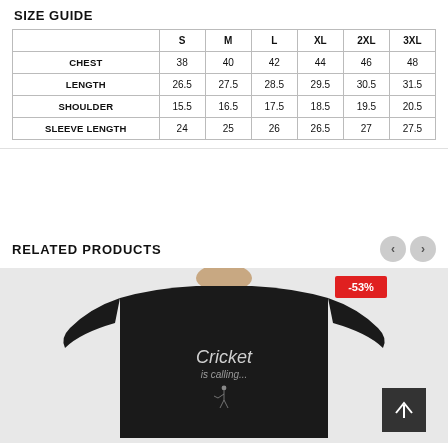SIZE GUIDE
|  | S | M | L | XL | 2XL | 3XL |
| --- | --- | --- | --- | --- | --- | --- |
| CHEST | 38 | 40 | 42 | 44 | 46 | 48 |
| LENGTH | 26.5 | 27.5 | 28.5 | 29.5 | 30.5 | 31.5 |
| SHOULDER | 15.5 | 16.5 | 17.5 | 18.5 | 19.5 | 20.5 |
| SLEEVE LENGTH | 24 | 25 | 26 | 26.5 | 27 | 27.5 |
RELATED PRODUCTS
[Figure (photo): Person wearing a black t-shirt with 'Cricket is calling...' text and cricket player graphic. A -53% discount badge is visible in the top right corner.]